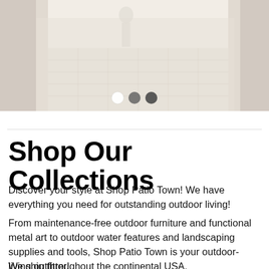[Figure (photo): Hero banner image showing an outdoor patio area with stone pavers, decorative stone pillars, and a statue, with a faded/washed-out appearance. Three carousel dots appear at the bottom of the image.]
Shop Our Collections
Discover your style at Shop Patio Town! We have everything you need for outstanding outdoor living!
From maintenance-free outdoor furniture and functional metal art to outdoor water features and landscaping supplies and tools, Shop Patio Town is your outdoor-living outfitter!
We ship throughout the continental USA.